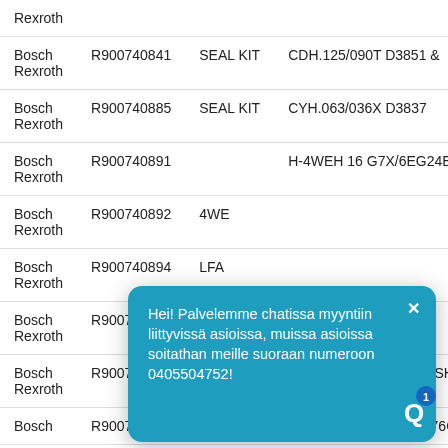| Brand | Part Number | Type | Description |
| --- | --- | --- | --- |
| Bosch Rexroth |  |  |  |
| Bosch Rexroth | R900740841 | SEAL KIT | CDH.125/090T D3851 & |
| Bosch Rexroth | R900740885 | SEAL KIT | CYH.063/036X D3837 |
| Bosch Rexroth | R900740891 |  | H-4WEH 16 G7X/6EG24ETDL/B10P4,5D3 |
| Bosch Rexroth | R900740892 | 4WE… |  |
| Bosch Rexroth | R900740894 | LFA… |  |
| Bosch Rexroth | R900740906 | 4WR… | …3W |
| Bosch Rexroth | R900740929 |  | SCHLAUCH AB23-14/4SH-31/U…X10 |
| Bosch | R900740930 |  | SCHLAUCH AB23-15/ 76O/64  R76 X 130 |
[Figure (screenshot): Chat popup overlay in Finnish reading: 'Hei! Palvelemme chatissa myyntiin liittyvissä asioissa, muissa asioissa soitathan meille suoraan numeroon 0405504752!' with a close button (×) and a chat badge with notification count 1.]